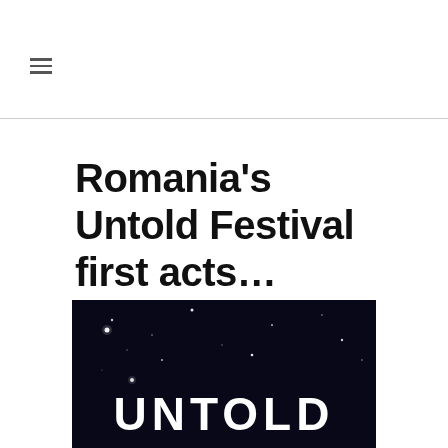≡
Romania's Untold Festival first acts…
[Figure (photo): Dark banner image with white UNTOLD text logo and stars in the background]